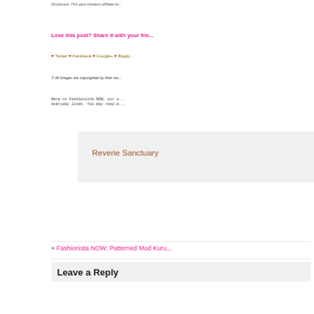Disclosure: This post contains affiliate li...
Love this post? Share it with your frie...
♥ Twitter ♥ Facebook ♥ Google+ ♥ Bloglo...
© All images are copyrighted by their res...
Here on Fashionista NOW, our o... everyday lives. You may read m...
Reverie Sanctuary
« Fashionista NOW: Patterned Mod Kuru...
Leave a Reply